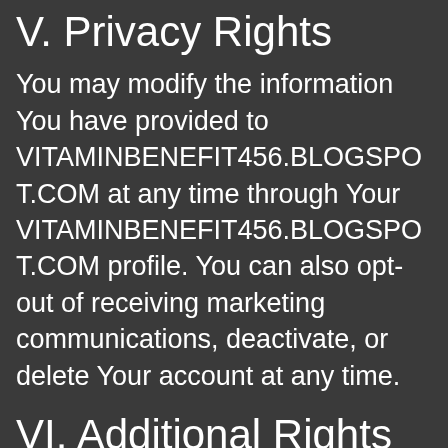V. Privacy Rights
You may modify the information You have provided to VITAMINBENEFIT456.BLOGSPOT.COM at any time through Your VITAMINBENEFIT456.BLOGSPOT.COM profile. You can also opt-out of receiving marketing communications, deactivate, or delete Your account at any time.
VI. Additional Rights for EEA users or similar international